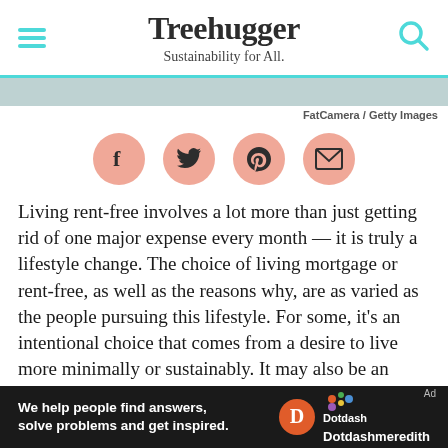Treehugger — Sustainability for All.
FatCamera / Getty Images
[Figure (other): Social share buttons: Facebook, Twitter, Pinterest, Email — salmon/coral circular icons]
Living rent-free involves a lot more than just getting rid of one major expense every month — it is truly a lifestyle change. The choice of living mortgage or rent-free, as well as the reasons why, are as varied as the people pursuing this lifestyle. For some, it's an intentional choice that comes from a desire to live more minimally or sustainably. It may also be an opportunity
[Figure (other): Dotdash Meredith advertisement bar: 'We help people find answers, solve problems and get inspired.']